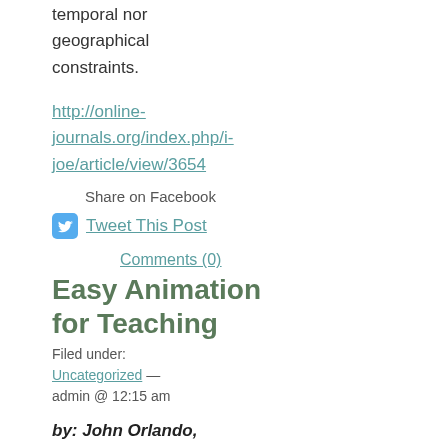temporal nor geographical constraints.
http://online-journals.org/index.php/i-joe/article/view/3654
Share on Facebook
Tweet This Post
Comments (0)
Easy Animation for Teaching
Filed under: Uncategorized — admin @ 12:15 am
by: John Orlando,
Magna Publications